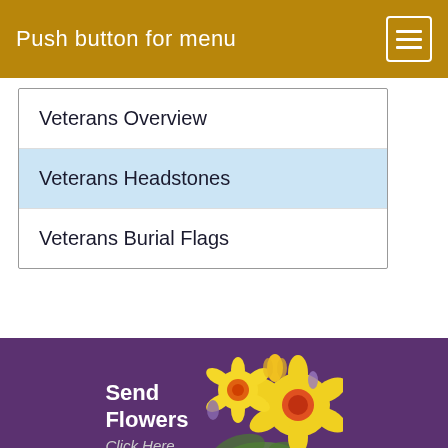Push button for menu
Veterans Overview
Veterans Headstones
Veterans Burial Flags
[Figure (illustration): Yellow and orange flowers bouquet next to Send Flowers / Click Here text]
Thomas Funeral Home P.A.
700 Locust Street
Cambridge, MD 21613
Tel: 1-410-228-4727